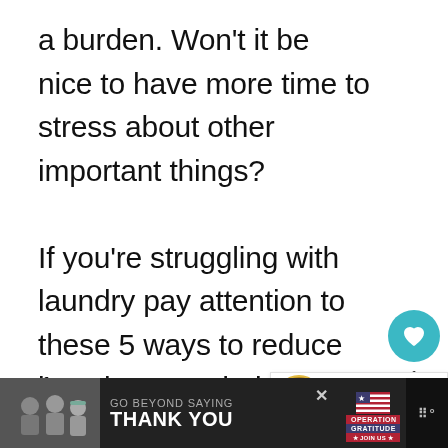a burden. Won't it be nice to have more time to stress about other important things?
If you're struggling with laundry pay attention to these 5 ways to reduce laundry overwhelm!
1. HIRE SOMEONE HELP
[Figure (screenshot): What's Next widget showing '10 Ways to Minimize...' article thumbnail]
[Figure (infographic): Advertisement banner: GO BEYOND SAYING THANK YOU - Operation Gratitude JOIN US]
[Figure (other): Heart/like button with count 1 and share button on right sidebar]